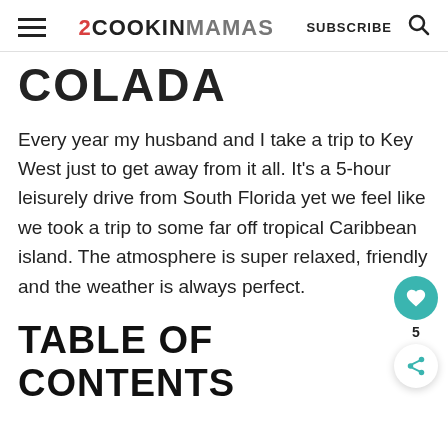2COOKINMAMAS   SUBSCRIBE
COLADA
Every year my husband and I take a trip to Key West just to get away from it all. It's a 5-hour leisurely drive from South Florida yet we feel like we took a trip to some far off tropical Caribbean island. The atmosphere is super relaxed, friendly and the weather is always perfect.
TABLE OF CONTENTS